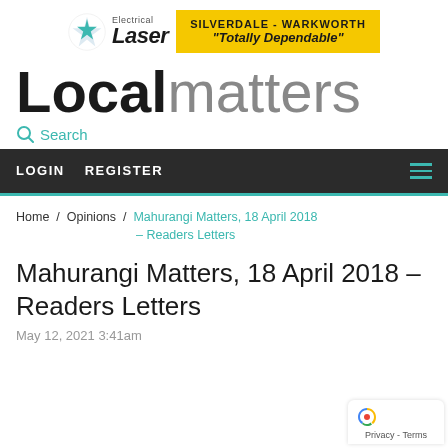[Figure (logo): Laser Electrical advertisement banner with logo and yellow box reading 'SILVERDALE - WARKWORTH Totally Dependable']
Localmatters
Search
LOGIN   REGISTER
Home / Opinions / Mahurangi Matters, 18 April 2018 – Readers Letters
Mahurangi Matters, 18 April 2018 – Readers Letters
May 12, 2021 3:41am